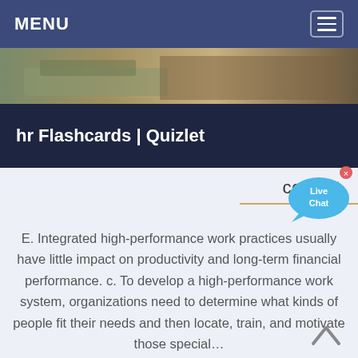MENU
[Figure (photo): Outdoor landscape/construction photo strip at top of page]
hr Flashcards | Quizlet
consult
[Figure (illustration): Live Chat speech bubble icon in blue]
E. Integrated high-performance work practices usually have little impact on productivity and long-term financial performance. c. To develop a high-performance work system, organizations need to determine what kinds of people fit their needs and then locate, train, and motivate those special…